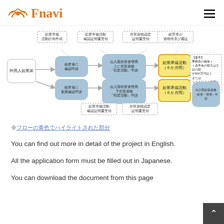Fnavi
[Figure (flowchart): Flowchart showing the process for foreign entrepreneurs (外国人起業家) to apply for business startup activities in Japan, including steps for application to immigration bureau, startup preparation activities (6 months), and final application for business management visa.]
※（上記フローの青色でハイライトされた部分）
You can find out more in detail of the project in English.
All the application form must be filled out in Japanese.
You can download the document from this page